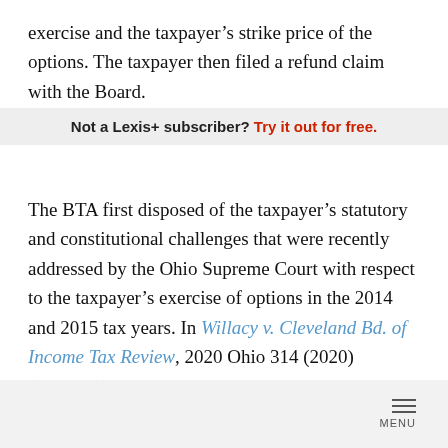exercise and the taxpayer's strike price of the options. The taxpayer then filed a refund claim with the Board.
Not a Lexis+ subscriber? Try it out for free.
The BTA first disposed of the taxpayer's statutory and constitutional challenges that were recently addressed by the Ohio Supreme Court with respect to the taxpayer's exercise of options in the 2014 and 2015 tax years. In Willacy v. Cleveland Bd. of Income Tax Review, 2020 Ohio 314 (2020) (Willacy I), the Ohio Supreme Court held in a per curiam opinion that exercising stock options generated taxable compensation – “qualifying wages” – for purposes of the Cleveland municipal income tax in the year the options were exercised. In so doing, the
MENU